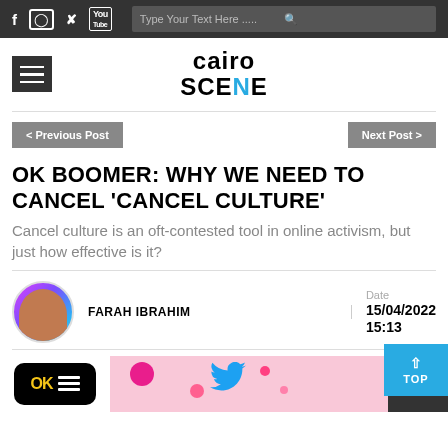CairoSCENE — website screenshot header with social icons, search bar, logo, and navigation
OK BOOMER: WHY WE NEED TO CANCEL 'CANCEL CULTURE'
Cancel culture is an oft-contested tool in online activism, but just how effective is it?
FARAH IBRAHIM — Date 15/04/2022 15:13
[Figure (screenshot): Bottom image strip showing OK Boomer article thumbnail with pink background, decorative circles, twitter bird icon, and CairoSCENE logo watermark]